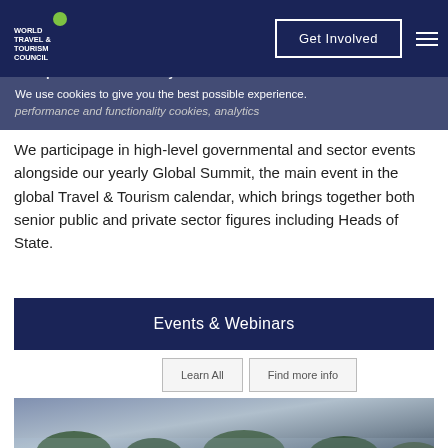World Travel & Tourism Council — Accept Cookies & Privacy — Get Involved
performance and functionality cookies, analytics
We participage in high-level governmental and sector events alongside our yearly Global Summit, the main event in the global Travel & Tourism calendar, which brings together both senior public and private sector figures including Heads of State.
Events & Webinars
Learn All   |   Find more info
[Figure (photo): Aerial or landscape photo of trees with misty/hazy atmosphere in blue-purple tones.]